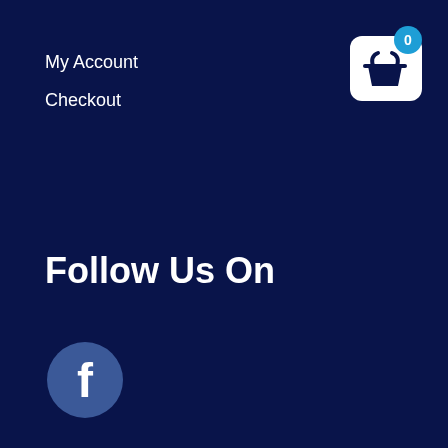My Account
Checkout
[Figure (screenshot): Shopping cart icon with white basket on white rounded rectangle background, with a blue circle badge showing the number 0]
Follow Us On
[Figure (logo): Facebook logo - circular blue icon with white letter f]